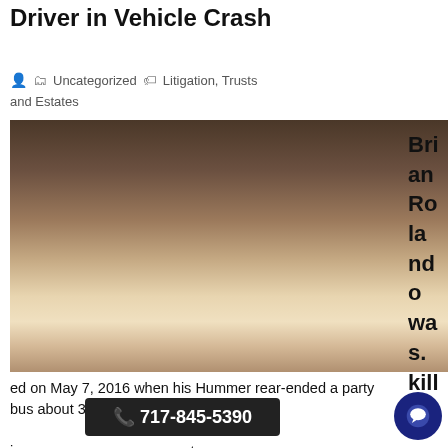Driver in Vehicle Crash
Uncategorized   Litigation, Trusts and Estates
[Figure (photo): Woman in business attire sitting at desk with papers, holding phone to ear with hand on forehead, man in suit visible behind her, bookshelves of law books in background. Overlay: chat bubble saying 'Hi there, have a question? Text us here.' with close button.]
Brian Roland owa s. kill ed on May 7, 2016 when his Hummer rear-ended a party bus about 3 AM in Paterson, New Jersey faces some issues circumstances